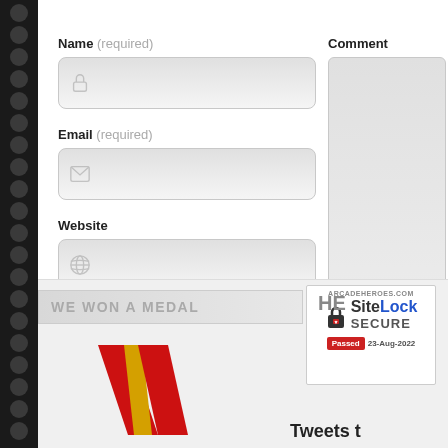Name (required)
[Figure (screenshot): Name text input field with lock icon]
Email (required)
[Figure (screenshot): Email text input field with envelope icon]
Website
[Figure (screenshot): Website text input field with globe icon]
Comment
[Figure (screenshot): Comment textarea input field]
WE WON A MEDAL
[Figure (logo): Red and gold V-shaped medal logo]
[Figure (screenshot): SiteLock SECURE badge - ARCADEHEROES.COM - Passed 23-Aug-2022]
Tweets t